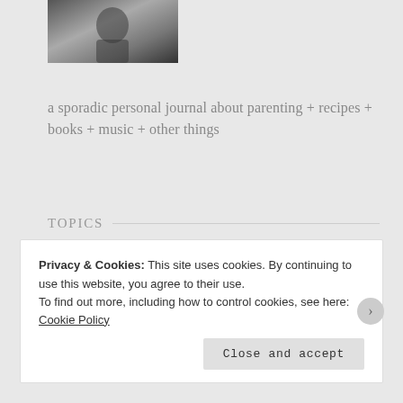[Figure (photo): Black and white photo thumbnail of a person]
a sporadic personal journal about parenting + recipes + books + music + other things
TOPICS
Select Category
INSTAGRAM
Privacy & Cookies: This site uses cookies. By continuing to use this website, you agree to their use.
To find out more, including how to control cookies, see here: Cookie Policy
Close and accept